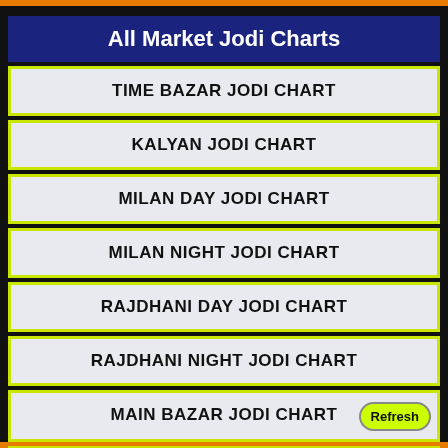All Market Jodi Charts
TIME BAZAR JODI CHART
KALYAN JODI CHART
MILAN DAY JODI CHART
MILAN NIGHT JODI CHART
RAJDHANI DAY JODI CHART
RAJDHANI NIGHT JODI CHART
MAIN BAZAR JODI CHART
KALYAN NIGHT JODI CHART